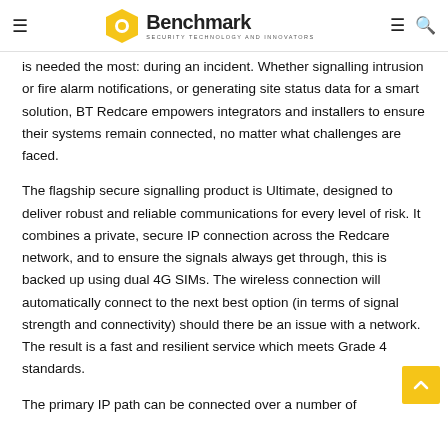Benchmark — Security Technology and Innovators
is needed the most: during an incident. Whether signalling intrusion or fire alarm notifications, or generating site status data for a smart solution, BT Redcare empowers integrators and installers to ensure their systems remain connected, no matter what challenges are faced.
The flagship secure signalling product is Ultimate, designed to deliver robust and reliable communications for every level of risk. It combines a private, secure IP connection across the Redcare network, and to ensure the signals always get through, this is backed up using dual 4G SIMs. The wireless connection will automatically connect to the next best option (in terms of signal strength and connectivity) should there be an issue with a network. The result is a fast and resilient service which meets Grade 4 standards.
The primary IP path can be connected over a number of